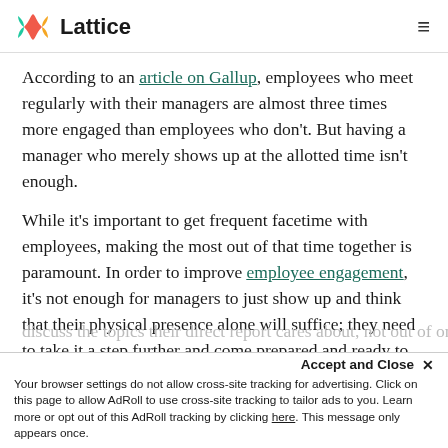Lattice
According to an article on Gallup, employees who meet regularly with their managers are almost three times more engaged than employees who don't. But having a manager who merely shows up at the allotted time isn't enough.
While it's important to get frequent facetime with employees, making the most out of that time together is paramount. In order to improve employee engagement, it's not enough for managers to just show up and think that their physical presence alone will suffice; they need to take it a step further and come prepared and ready to discuss the topics their direct reports care about, not out of one-on-one.
Accept and Close ✕ Your browser settings do not allow cross-site tracking for advertising. Click on this page to allow AdRoll to use cross-site tracking to tailor ads to you. Learn more or opt out of this AdRoll tracking by clicking here. This message only appears once.